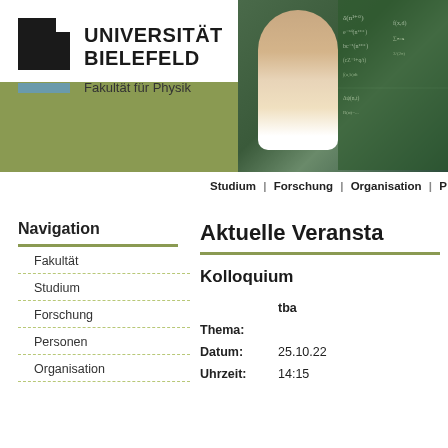[Figure (logo): Universität Bielefeld logo with black square icon and bold university name]
Fakultät für Physik
[Figure (photo): Photo of a man with glasses in front of a chalkboard covered in physics equations]
Studium | Forschung | Organisation |
Navigation
Fakultät
Studium
Forschung
Personen
Organisation
Aktuelle Veransta
Kolloquium
|  | tba |
| Thema: |  |
| Datum: | 25.10.22 |
| Uhrzeit: | 14:15 |